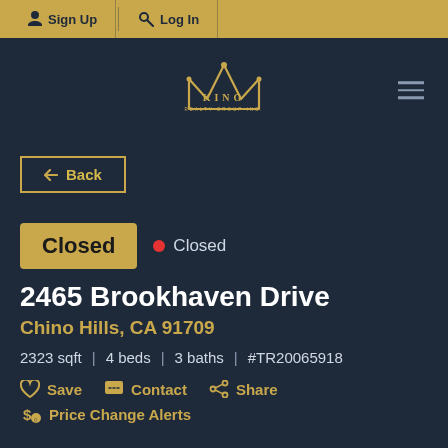Sign Up | Log In
[Figure (logo): King Realty Group Inc. crown logo in gold on dark navy background]
← Back
Closed • Closed
2465 Brookhaven Drive
Chino Hills, CA 91709
2323 sqft | 4 beds | 3 baths | #TR20065918
Save  Contact  Share
Price Change Alerts